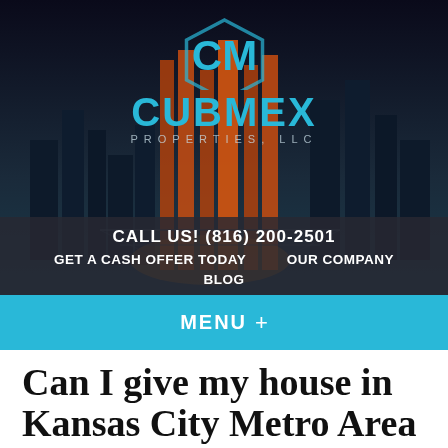[Figure (screenshot): Cubmex Properties LLC website header with Kansas City skyline background at night, showing logo, navigation links, and cyan menu bar]
Can I give my house in Kansas City Metro Area back to the bank